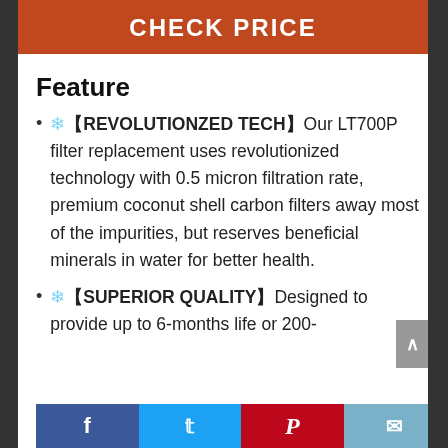CHECK PRICE
Feature
❄️【REVOLUTIONZED TECH】Our LT700P filter replacement uses revolutionized technology with 0.5 micron filtration rate, premium coconut shell carbon filters away most of the impurities, but reserves beneficial minerals in water for better health.
❄️【SUPERIOR QUALITY】Designed to provide up to 6-months life or 200-